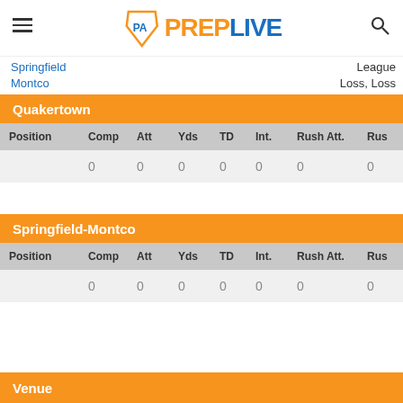PA PrepLive
Springfield Montco
League Loss, Loss
Quakertown
| Position | Comp | Att | Yds | TD | Int. | Rush Att. | Rus… |
| --- | --- | --- | --- | --- | --- | --- | --- |
|  | 0 | 0 | 0 | 0 | 0 | 0 | 0 |
Springfield-Montco
| Position | Comp | Att | Yds | TD | Int. | Rush Att. | Rus… |
| --- | --- | --- | --- | --- | --- | --- | --- |
|  | 0 | 0 | 0 | 0 | 0 | 0 | 0 |
Venue